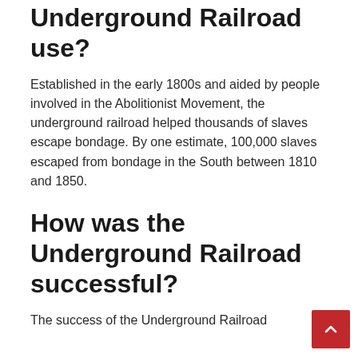Underground Railroad use?
Established in the early 1800s and aided by people involved in the Abolitionist Movement, the underground railroad helped thousands of slaves escape bondage. By one estimate, 100,000 slaves escaped from bondage in the South between 1810 and 1850.
How was the Underground Railroad successful?
The success of the Underground Railroad